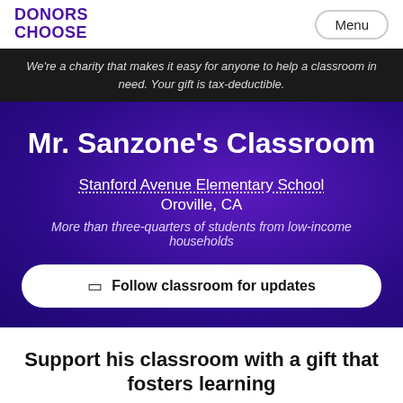DONORS CHOOSE
We're a charity that makes it easy for anyone to help a classroom in need. Your gift is tax-deductible.
Mr. Sanzone's Classroom
Stanford Avenue Elementary School
Oroville, CA
More than three-quarters of students from low-income households
Follow classroom for updates
Support his classroom with a gift that fosters learning